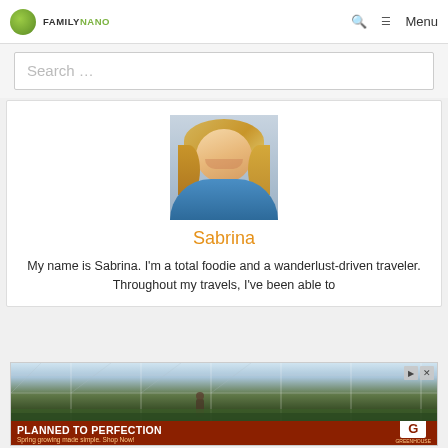FAMILY NANO
Search …
[Figure (photo): Portrait photo of a smiling blonde woman with curly hair wearing a blue top]
Sabrina
My name is Sabrina. I'm a total foodie and a wanderlust-driven traveler. Throughout my travels, I've been able to
[Figure (photo): Advertisement banner: PLANNED TO PERFECTION - Spring growing made simple. Shop Now! Greenhouse Solutions logo. Shows a greenhouse interior with a worker tending plants.]